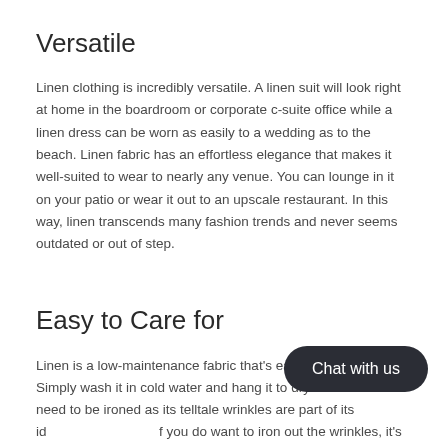Versatile
Linen clothing is incredibly versatile. A linen suit will look right at home in the boardroom or corporate c-suite office while a linen dress can be worn as easily to a wedding as to the beach. Linen fabric has an effortless elegance that makes it well-suited to wear to nearly any venue. You can lounge in it on your patio or wear it out to an upscale restaurant. In this way, linen transcends many fashion trends and never seems outdated or out of step.
Easy to Care for
Linen is a low-maintenance fabric that's easy to care for. Simply wash it in cold water and hang it to dry. Linen does not need to be ironed as its telltale wrinkles are part of its identity. If you do want to iron out the wrinkles, it's best to do so when it's still slightly damp for best results. Linen clothing and sheets can also be tumble dried.
[Figure (other): Chat with us button widget overlay in dark rounded rectangle]